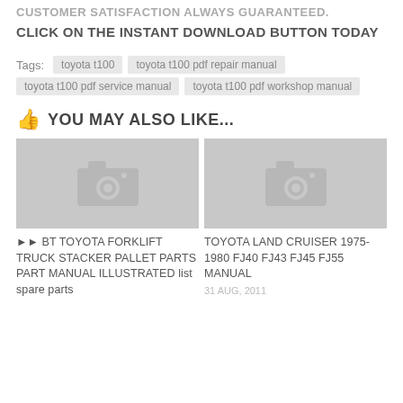CUSTOMER SATISFACTION ALWAYS GUARANTEED.
CLICK ON THE INSTANT DOWNLOAD BUTTON TODAY
Tags: toyota t100  toyota t100 pdf repair manual  toyota t100 pdf service manual  toyota t100 pdf workshop manual
YOU MAY ALSO LIKE...
[Figure (photo): Placeholder image with camera icon for BT Toyota Forklift article]
[Figure (photo): Placeholder image with camera icon for Toyota Land Cruiser article]
►► BT TOYOTA FORKLIFT TRUCK STACKER PALLET PARTS PART MANUAL ILLUSTRATED list spare parts
TOYOTA LAND CRUISER 1975-1980 FJ40 FJ43 FJ45 FJ55 MANUAL
31 AUG, 2011